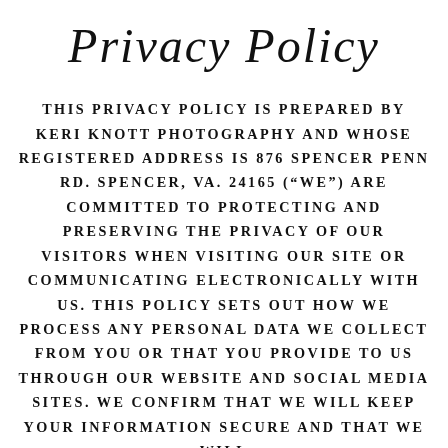Privacy Policy
THIS PRIVACY POLICY IS PREPARED BY KERI KNOTT PHOTOGRAPHY AND WHOSE REGISTERED ADDRESS IS 876 SPENCER PENN RD. SPENCER, VA. 24165 (“WE”) ARE COMMITTED TO PROTECTING AND PRESERVING THE PRIVACY OF OUR VISITORS WHEN VISITING OUR SITE OR COMMUNICATING ELECTRONICALLY WITH US. THIS POLICY SETS OUT HOW WE PROCESS ANY PERSONAL DATA WE COLLECT FROM YOU OR THAT YOU PROVIDE TO US THROUGH OUR WEBSITE AND SOCIAL MEDIA SITES. WE CONFIRM THAT WE WILL KEEP YOUR INFORMATION SECURE AND THAT WE WILL